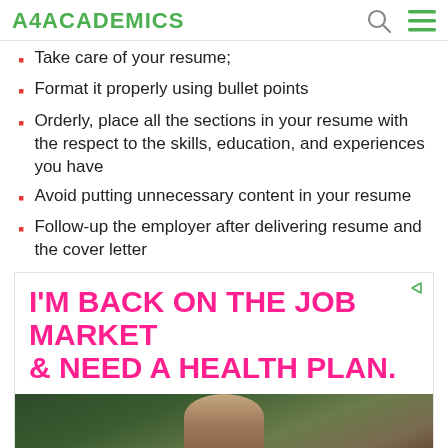A4ACADEMICS
Take care of your resume;
Format it properly using bullet points
Orderly, place all the sections in your resume with the respect to the skills, education, and experiences you have
Avoid putting unnecessary content in your resume
Follow-up the employer after delivering resume and the cover letter
[Figure (infographic): Advertisement banner with bold pink text reading 'I'M BACK ON THE JOB MARKET & NEED A HEALTH PLAN.' on white background, with a photo of a woman below.]